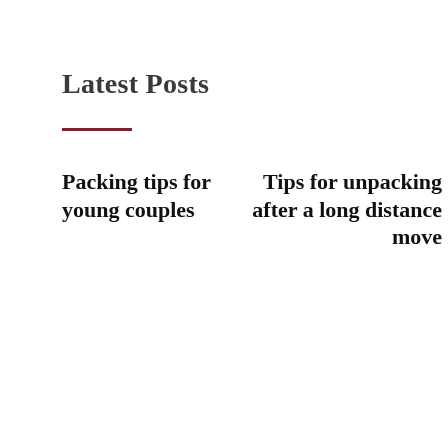Latest Posts
——
Packing tips for young couples
Tips for unpacking after a long distance move